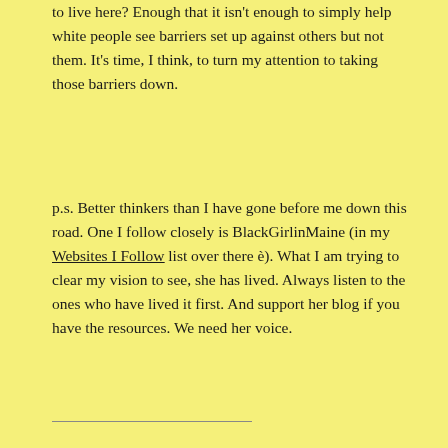to live here? Enough that it isn't enough to simply help white people see barriers set up against others but not them. It's time, I think, to turn my attention to taking those barriers down.
p.s. Better thinkers than I have gone before me down this road. One I follow closely is BlackGirlinMaine (in my Websites I Follow list over there è). What I am trying to clear my vision to see, she has lived. Always listen to the ones who have lived it first. And support her blog if you have the resources. We need her voice.